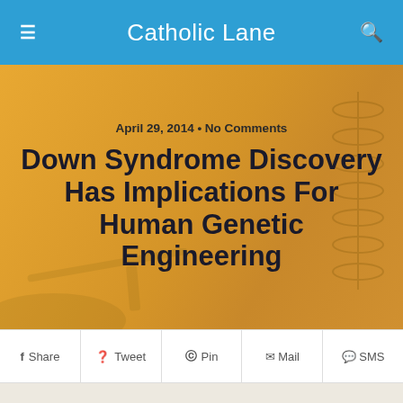Catholic Lane
[Figure (photo): Website article hero banner with golden/amber background showing date 'April 29, 2014 • No Comments' and article title 'Down Syndrome Discovery Has Implications For Human Genetic Engineering']
April 29, 2014 • No Comments
Down Syndrome Discovery Has Implications For Human Genetic Engineering
Share  Tweet  Pin  Mail  SMS
[Figure (photo): Scientist or researcher wearing glasses looking at a DNA double helix model held up in their hand]